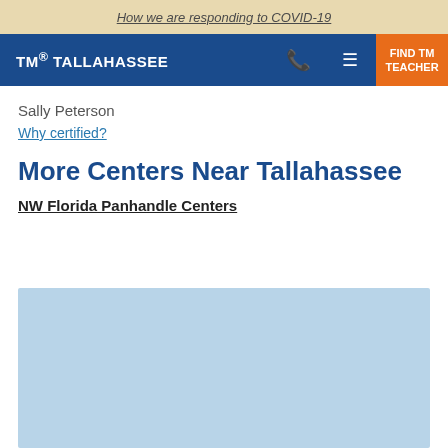How we are responding to COVID-19
TM® TALLAHASSEE | FIND TM TEACHER
Sally Peterson
Why certified?
More Centers Near Tallahassee
NW Florida Panhandle Centers
[Figure (map): Light blue map area placeholder showing centers near Tallahassee]